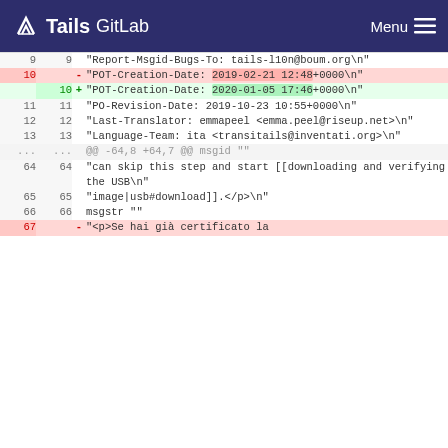Tails GitLab  Menu
| old | new | sign | code |
| --- | --- | --- | --- |
|  | 9 | 9 | "Report-Msgid-Bugs-To: tails-l10n@boum.org\n" |
| 10 |  | - | "POT-Creation-Date: 2019-02-21 12:48+0000\n" |
|  | 10 | + | "POT-Creation-Date: 2020-01-05 17:46+0000\n" |
| 11 | 11 |  | "PO-Revision-Date: 2019-10-23 10:55+0000\n" |
| 12 | 12 |  | "Last-Translator: emmapeel <emma.peel@riseup.net>\n" |
| 13 | 13 |  | "Language-Team: ita <transitails@inventati.org>\n" |
| ... | ... |  | @@ -64,8 +64,7 @@ msgid "" |
| 64 | 64 |  | "can skip this step and start [[downloading and verifying the USB\n" |
| 65 | 65 |  | "image|usb#download]].</p>\n" |
| 66 | 66 |  | msgstr "" |
| 67 |  | - | "<p>Se hai già certificato la |